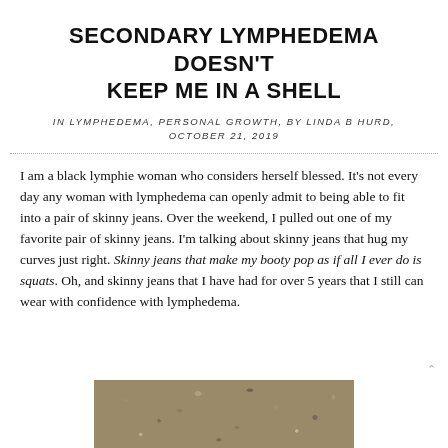SECONDARY LYMPHEDEMA DOESN'T KEEP ME IN A SHELL
IN LYMPHEDEMA, PERSONAL GROWTH, BY LINDA B HURD, OCTOBER 21, 2019
I am a black lymphie woman who considers herself blessed. It's not every day any woman with lymphedema can openly admit to being able to fit into a pair of skinny jeans. Over the weekend, I pulled out one of my favorite pair of skinny jeans. I'm talking about skinny jeans that hug my curves just right. Skinny jeans that make my booty pop as if all I ever do is squats. Oh, and skinny jeans that I have had for over 5 years that I still can wear with confidence with lymphedema.
[Figure (photo): Close-up photo of gravel/pebbles on the ground]